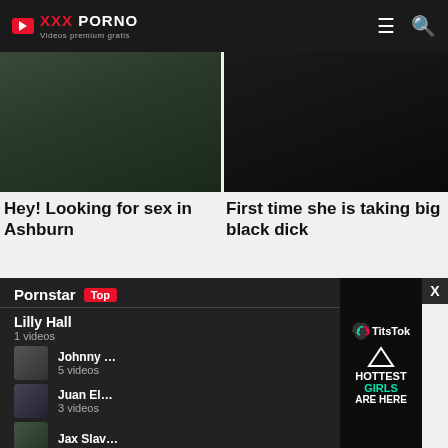XXX PORNO — Videos premium gratis
[Figure (screenshot): Two adult video thumbnail images side by side]
Hey! Looking for sex in Ashburn
First time she is taking big black dick
[Figure (screenshot): Pornstar Top panel overlay with list: Lilly Hall 1 videos, Johnny 5 videos, Juan El 3 videos, Jax Slav...]
[Figure (advertisement): TitsTok ad — HOTTEST GIRLS ARE HERE]